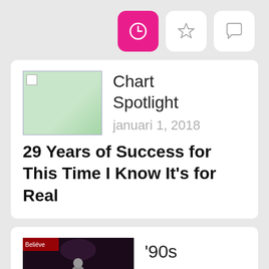[Figure (screenshot): Top navigation bar with three icon buttons: a pink clock icon (active), a star icon, and a chat bubble icon]
[Figure (screenshot): Article card 1: Donna Summer placeholder image on left, category 'Chart Spotlight', date 'januari 1, 2018', title '29 Years of Success for This Time I Know It's for Real']
[Figure (screenshot): Article card 2: photo of performer on stage on left, category "'90s Chart Spotlight"]